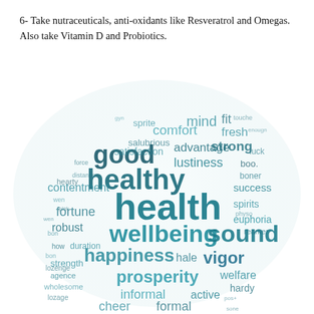6- Take nutraceuticals, anti-oxidants like Resveratrol and Omegas. Also take Vitamin D and Probiotics.
[Figure (illustration): A spherical word cloud with health-related terms in various sizes and shades of teal/blue. Prominent words include: health, healthy, good, wellbeing, sound, happiness, prosperity, vigor, fortune, robust, contentment, advantage, lustiness, satisfaction, comfort, fresh, strong, success, spirits, euphoria, cheer, informal, active, formal, hale, welfare, hardy, mind, fit, duration, strength, hearty.]